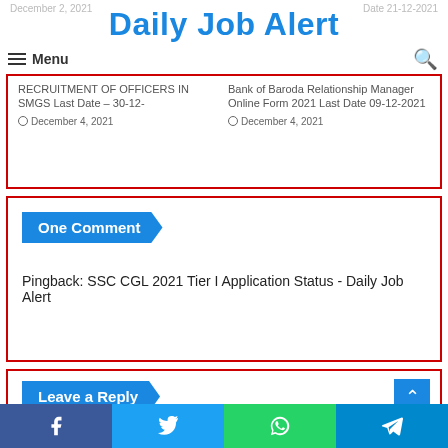Daily Job Alert
RECRUITMENT OF OFFICERS IN SMGS Last Date – 30-12-  | Bank of Baroda Relationship Manager Online Form 2021 Last Date 09-12-2021
December 4, 2021  |  December 4, 2021
One Comment
Pingback: SSC CGL 2021 Tier I Application Status - Daily Job Alert
Leave a Reply